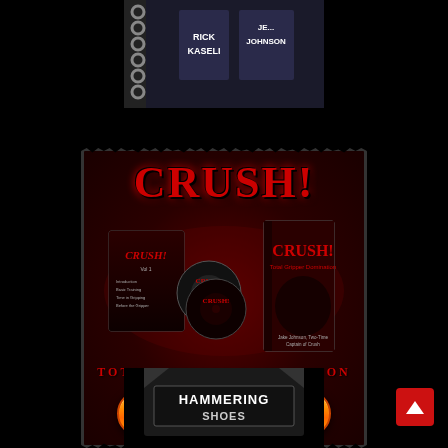[Figure (photo): Top portion of a spiral-bound book with authors Rick Kaseli and Je... Johnson visible on the cover, partially cropped at top of page]
[Figure (illustration): CRUSH! Total Gripper Domination product advertisement box with torn edges on dark red background, showing DVD cases and book with CRUSH! title in red letters, subtitle Total Gripper Domination, and ORDER NOW! orange button]
[Figure (photo): Bottom portion of a book with Hammering title/logo visible, partially cropped at bottom of page]
[Figure (other): Red scroll-to-top button with white upward arrow in bottom-right corner]